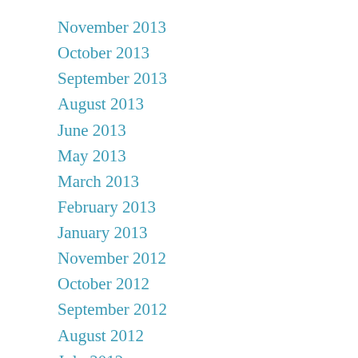November 2013
October 2013
September 2013
August 2013
June 2013
May 2013
March 2013
February 2013
January 2013
November 2012
October 2012
September 2012
August 2012
July 2012
June 2012
May 2012
April 2012
March 2012